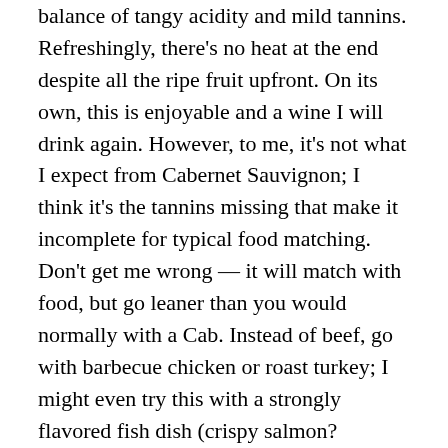balance of tangy acidity and mild tannins. Refreshingly, there's no heat at the end despite all the ripe fruit upfront. On its own, this is enjoyable and a wine I will drink again. However, to me, it's not what I expect from Cabernet Sauvignon; I think it's the tannins missing that make it incomplete for typical food matching. Don't get me wrong — it will match with food, but go leaner than you would normally with a Cab. Instead of beef, go with barbecue chicken or roast turkey; I might even try this with a strongly flavored fish dish (crispy salmon? blackened catfish?).
Find this wine at a retailer near you using Wine-Searcher